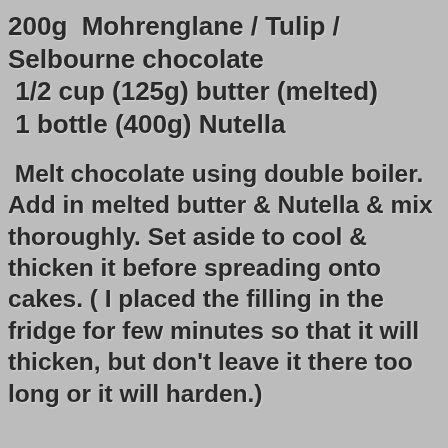200g  Mohrenglane / Tulip / Selbourne chocolate
1/2 cup (125g) butter (melted)
1 bottle (400g) Nutella
Melt chocolate using double boiler. Add in melted butter & Nutella & mix thoroughly. Set aside to cool & thicken it before spreading onto cakes. ( I placed the filling in the fridge for few minutes so that it will thicken, but don't leave it there too long or it will harden.)